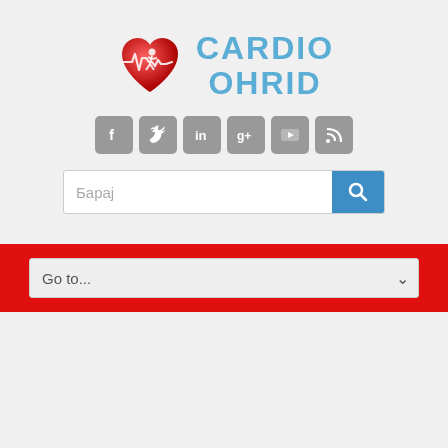[Figure (logo): Cardio Ohrid logo: red heart with running figure and ECG line, with text CARDIO OHRID in blue]
[Figure (infographic): Social media icons row: Facebook, Twitter, LinkedIn, Google+, YouTube, RSS - all grey rounded square icons]
[Figure (screenshot): Search bar with placeholder text 'Барај' and a blue search button with magnifier icon]
[Figure (screenshot): Red banner containing a dropdown select element with placeholder 'Go to...' and a chevron/arrow on the right]